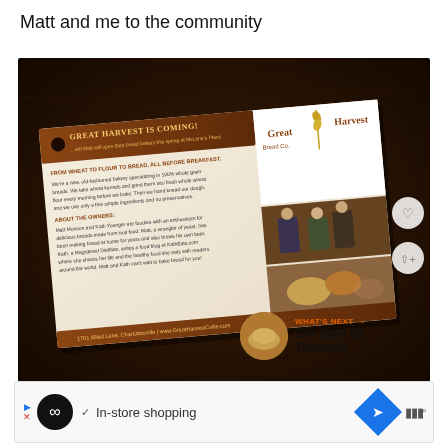Matt and me to the community
[Figure (photo): A photograph of a Great Harvest Bread Co. promotional card/flyer laid on a dark wooden table. The card reads 'Great Harvest Is Coming!' and contains information about the bakery, owners Matt and Kath, and their Charlottesville location. The card also shows the Great Harvest Bread Co. logo and photos of the owners/bread.]
WHAT'S NEXT → The Start Of Thursday
✓ In-store shopping